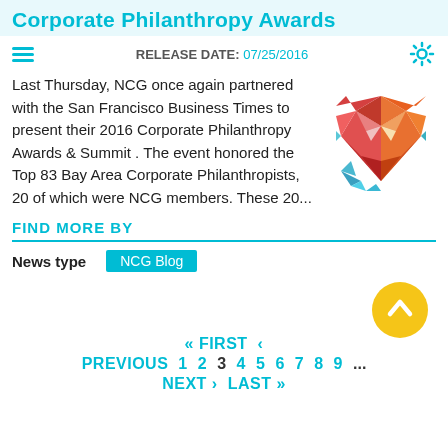Corporate Philanthropy Awards
RELEASE DATE: 07/25/2016
Last Thursday, NCG once again partnered with the San Francisco Business Times to present their 2016 Corporate Philanthropy Awards & Summit . The event honored the Top 83 Bay Area Corporate Philanthropists, 20 of which were NCG members. These 20...
[Figure (illustration): Colorful geometric heart shape illustration in red, orange, pink, and blue tones, showing a stylized heart made of polygon facets.]
FIND MORE BY
News type   NCG Blog
[Figure (illustration): Yellow circular scroll-to-top button with upward arrow chevron in white.]
« FIRST  ‹  PREVIOUS  1  2  3  4  5  6  7  8  9  ...  NEXT ›  LAST »